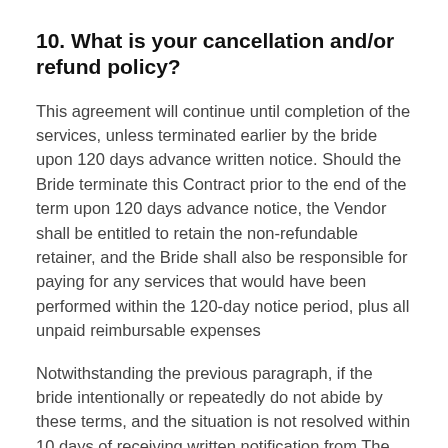10. What is your cancellation and/or refund policy?
This agreement will continue until completion of the services, unless terminated earlier by the bride upon 120 days advance written notice. Should the Bride terminate this Contract prior to the end of the term upon 120 days advance notice, the Vendor shall be entitled to retain the non-refundable retainer, and the Bride shall also be responsible for paying for any services that would have been performed within the 120-day notice period, plus all unpaid reimbursable expenses
Notwithstanding the previous paragraph, if the bride intentionally or repeatedly do not abide by these terms, and the situation is not resolved within 10 days of receiving written notification from The Bridal Beauty Team LLC, the vendor reserves the right to end the project immediately. For reschedules due to Act of God, Vendor will make reasonable efforts to accommodate rescheduled dates with